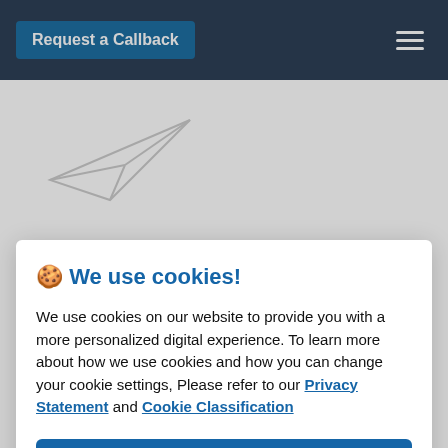Request a Callback
[Figure (illustration): Paper airplane / send icon outline illustration in light gray]
🍪 We use cookies!
We use cookies on our website to provide you with a more personalized digital experience. To learn more about how we use cookies and how you can change your cookie settings, Please refer to our Privacy Statement and Cookie Classification
Accept all
Reject all
Increase up-sell and cross-sell products to